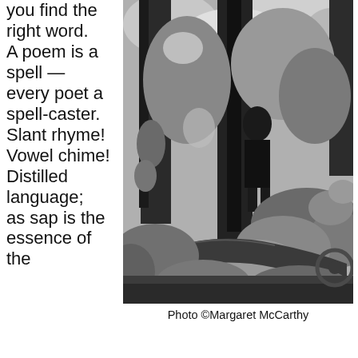you find the right word. A poem is a spell — every poet a spell-caster. Slant rhyme! Vowel chime! Distilled language; as sap is the essence of the
[Figure (photo): Black and white photograph of a dark forest scene with large tree trunks, dense foliage, and a shadowy figure standing among the trees.]
Photo ©Margaret McCarthy